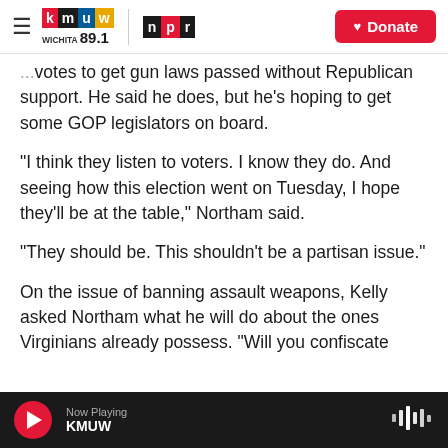KMUW WICHITA 89.1 | NPR | Donate
votes to get gun laws passed without Republican support. He said he does, but he's hoping to get some GOP legislators on board.
"I think they listen to voters. I know they do. And seeing how this election went on Tuesday, I hope they'll be at the table," Northam said.
"They should be. This shouldn't be a partisan issue."
On the issue of banning assault weapons, Kelly asked Northam what he will do about the ones Virginians already possess. "Will you confiscate
Now Playing KMUW